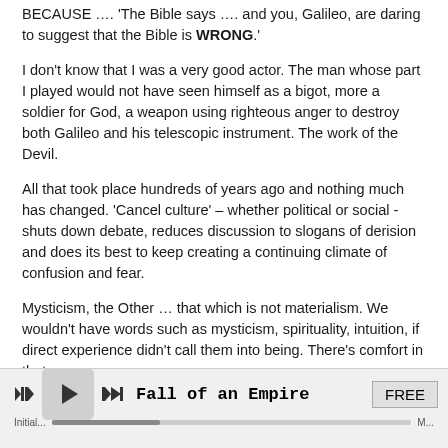BECAUSE …. 'The Bible says …. and you, Galileo, are daring to suggest that the Bible is WRONG.'
I don't know that I was a very good actor. The man whose part I played would not have seen himself as a bigot, more a soldier for God, a weapon using righteous anger to destroy both Galileo and his telescopic instrument. The work of the Devil.
All that took place hundreds of years ago and nothing much has changed. 'Cancel culture' – whether political or social - shuts down debate, reduces discussion to slogans of derision and does its best to keep creating a continuing climate of confusion and fear.
Mysticism, the Other … that which is not materialism. We wouldn't have words such as mysticism, spirituality, intuition, if direct experience didn't call them into being. There's comfort in that.
While the world continues to lurch and stagger its way into some uncertain future I've had the opportunity and time to delve into the past, to British history in particular, world history by association and to the understanding that Velikovsky and others have concluded
Fall of an Empire  FREE